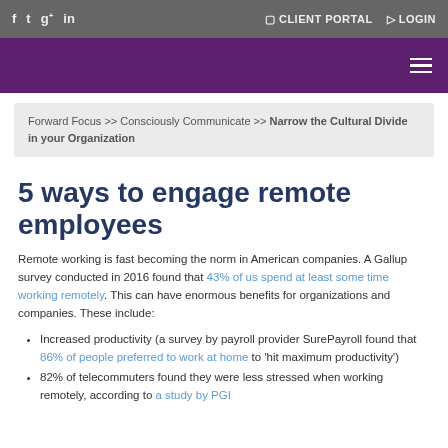f  t  g+  in  |  CLIENT PORTAL  LOGIN
Purple header bar with hamburger menu
Forward Focus >> Consciously Communicate >> Narrow the Cultural Divide in your Organization
5 ways to engage remote employees
Remote working is fast becoming the norm in American companies. A Gallup survey conducted in 2016 found that 43% of us spend at least some time working remotely. This can have enormous benefits for organizations and companies. These include:
Increased productivity (a survey by payroll provider SurePayroll found that 86% of people preferred to work at home to 'hit maximum productivity')
82% of telecommuters found they were less stressed when working remotely, according to a study by PGI